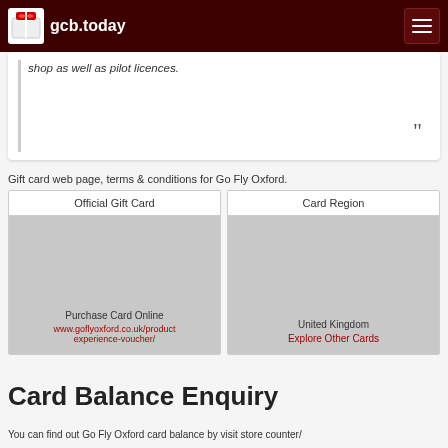gcb.today
shop as well as pilot licences.
Gift card web page, terms & conditions for Go Fly Oxford.
| Official Gift Card | Card Region |
| --- | --- |
| Purchase Card Online
www.goflyoxford.co.uk/product-experience-voucher/ | United Kingdom
Explore Other Cards |
Card Balance Enquiry
You can find out Go Fly Oxford card balance by visit store counter/